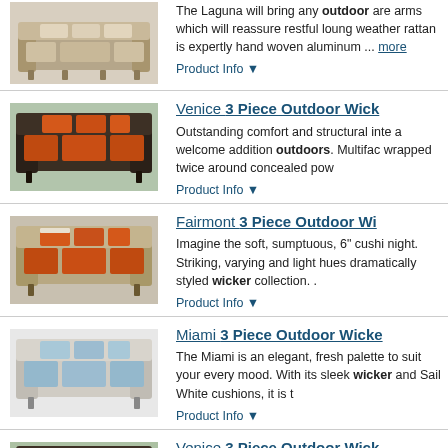[Figure (photo): Laguna outdoor wicker sofa product image]
The Laguna will bring any outdoor are arms which will reassure restful loung weather rattan is expertly hand woven aluminum ... more
Product Info ▼
Venice 3 Piece Outdoor Wick
[Figure (photo): Venice outdoor wicker sofa product image with orange cushions]
Outstanding comfort and structural inte a welcome addition outdoors. Multifac wrapped twice around concealed pow
Product Info ▼
Fairmont 3 Piece Outdoor Wi
[Figure (photo): Fairmont outdoor wicker sofa product image with orange cushions]
Imagine the soft, sumptuous, 6" cushi night. Striking, varying and light hues dramatically styled wicker collection. .
Product Info ▼
Miami 3 Piece Outdoor Wicke
[Figure (photo): Miami outdoor wicker sofa product image with light blue cushions]
The Miami is an elegant, fresh palette to suit your every mood. With its sleek wicker and Sail White cushions, it is t
Product Info ▼
Venice 3 Piece Outdoor Wick
[Figure (photo): Venice outdoor wicker sofa product image with green cushions]
Outstanding comfort and structural inte a welcome addition outdoors. Multifac wrapped twice around concealed pow